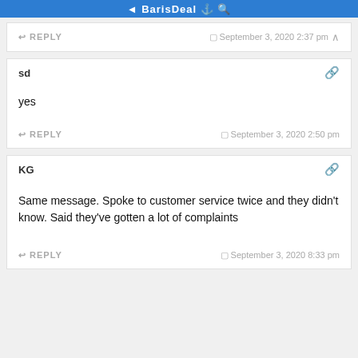BarisDeal
REPLY   September 3, 2020 2:37 pm  ▲
sd
yes
REPLY   September 3, 2020 2:50 pm
KG
Same message. Spoke to customer service twice and they didn't know. Said they've gotten a lot of complaints
REPLY   September 3, 2020 8:33 pm